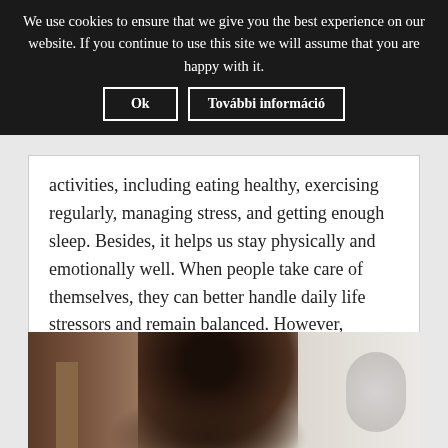We use cookies to ensure that we give you the best experience on our website. If you continue to use this site we will assume that you are happy with it.
Ok | További információ
activities, including eating healthy, exercising regularly, managing stress, and getting enough sleep. Besides, it helps us stay physically and emotionally well. When people take care of themselves, they can better handle daily life stressors and remain balanced. However, individuals must take a holistic approach to self-care to achieve optimal wellness.
[Figure (photo): Photo of a person with dark curly hair, seated, looking to the side, with a blurred background. A circular object is visible on the right side.]